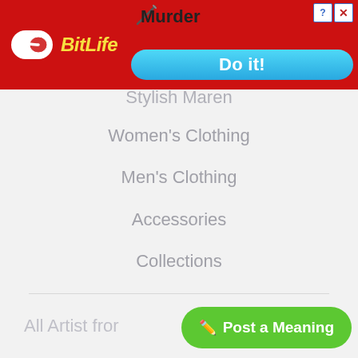[Figure (screenshot): BitLife mobile game advertisement banner with red background, sperm logo, brand name 'BitLife', 'Murder' text with knife graphic, 'Do it!' button in blue gradient, and close/help buttons]
Stylish Maren
Women's Clothing
Men's Clothing
Accessories
Collections
Support
About
Advertise
Contact Us
All Artist from
[Figure (screenshot): Green 'Post a Meaning' button with pencil icon]